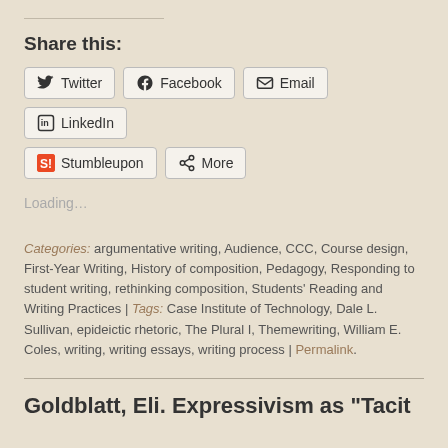Share this:
[Figure (other): Social sharing buttons: Twitter, Facebook, Email, LinkedIn, Stumbleupon, More]
Loading...
Categories: argumentative writing, Audience, CCC, Course design, First-Year Writing, History of composition, Pedagogy, Responding to student writing, rethinking composition, Students' Reading and Writing Practices | Tags: Case Institute of Technology, Dale L. Sullivan, epideictic rhetoric, The Plural I, Themewriting, William E. Coles, writing, writing essays, writing process | Permalink.
Goldblatt, Eli. Expressivism as "Tacit